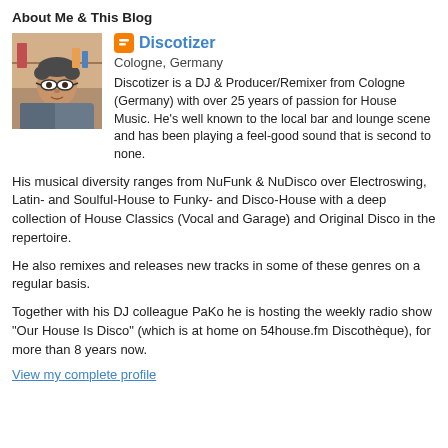About Me & This Blog
[Figure (photo): Profile photo of Discotizer, a man with glasses]
Discotizer
Cologne, Germany
Discotizer is a DJ & Producer/Remixer from Cologne (Germany) with over 25 years of passion for House Music. He's well known to the local bar and lounge scene and has been playing a feel-good sound that is second to none.
His musical diversity ranges from NuFunk & NuDisco over Electroswing, Latin- and Soulful-House to Funky- and Disco-House with a deep collection of House Classics (Vocal and Garage) and Original Disco in the repertoire.
He also remixes and releases new tracks in some of these genres on a regular basis.
Together with his DJ colleague PaKo he is hosting the weekly radio show "Our House Is Disco" (which is at home on 54house.fm Discothèque), for more than 8 years now.
View my complete profile